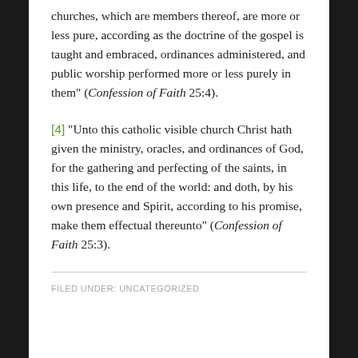churches, which are members thereof, are more or less pure, according as the doctrine of the gospel is taught and embraced, ordinances administered, and public worship performed more or less purely in them" (Confession of Faith 25:4).
[4] “Unto this catholic visible church Christ hath given the ministry, oracles, and ordinances of God, for the gathering and perfecting of the saints, in this life, to the end of the world: and doth, by his own presence and Spirit, according to his promise, make them effectual thereunto” (Confession of Faith 25:3).
FILED UNDER: UNCATEGORIZED